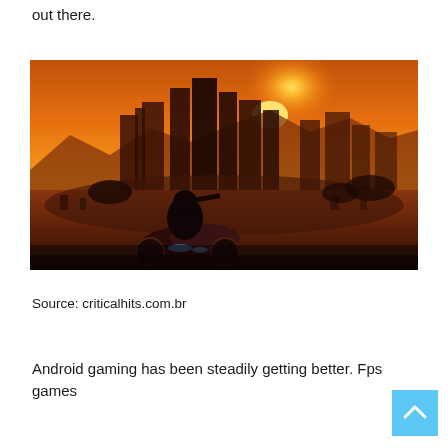out there.
[Figure (photo): Screenshot from a video game showing a character on a motorcycle overlooking a futuristic city skyline at sunset with an orange-tinted sky]
Source: criticalhits.com.br
Android gaming has been steadily getting better. Fps games